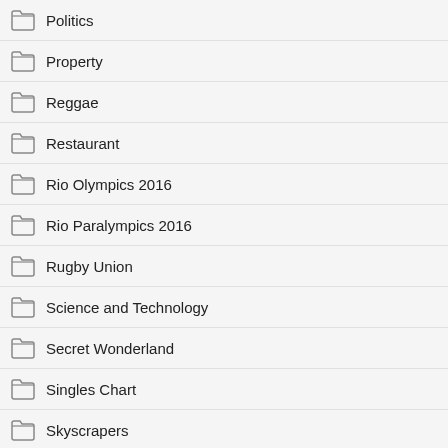Politics
Property
Reggae
Restaurant
Rio Olympics 2016
Rio Paralympics 2016
Rugby Union
Science and Technology
Secret Wonderland
Singles Chart
Skyscrapers
Smartphones
Snapchat
Social Network
Sony